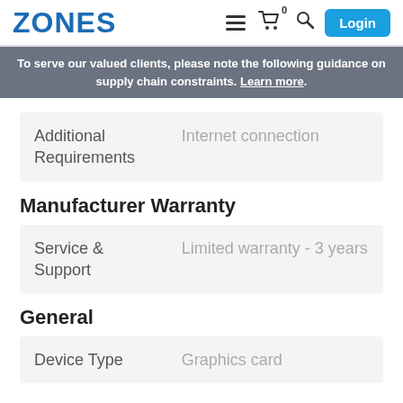ZONES | Login
To serve our valued clients, please note the following guidance on supply chain constraints. Learn more.
|  |  |
| --- | --- |
| Additional Requirements | Internet connection |
Manufacturer Warranty
|  |  |
| --- | --- |
| Service & Support | Limited warranty - 3 years |
General
|  |  |
| --- | --- |
| Device Type | Graphics card |